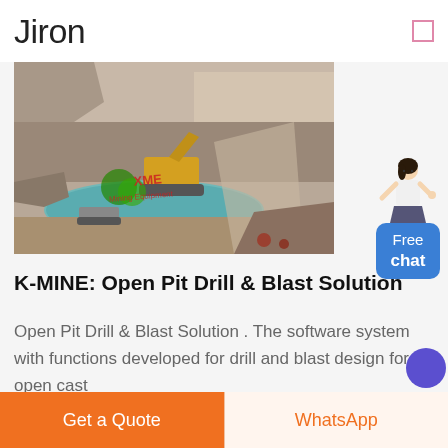Jiron
[Figure (photo): Open pit mine with heavy earth-moving equipment (excavator/bulldozer) working in a rocky quarry with a teal water pool at the bottom. Watermark text: XME Mining Equipment.]
K-MINE: Open Pit Drill & Blast Solution
Open Pit Drill & Blast Solution . The software system with functions developed for drill and blast design for open cast
Get a Quote
WhatsApp